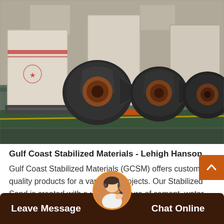[Figure (photo): Industrial factory floor showing large wrapped machinery (likely grinding mills) with white plastic wrapping in the background, and several dark gray centrifugal blower fans on pallets in the foreground. Green painted floor with yellow stripe visible.]
Gulf Coast Stabilized Materials - Lehigh Hanson
Gulf Coast Stabilized Materials (GCSM) offers customers quality products for a variety of projects. Our Stabilized Sand is created with a unique mixture of cement, water and sand. Stabilized Sand is a vital construction material, where the topography require...